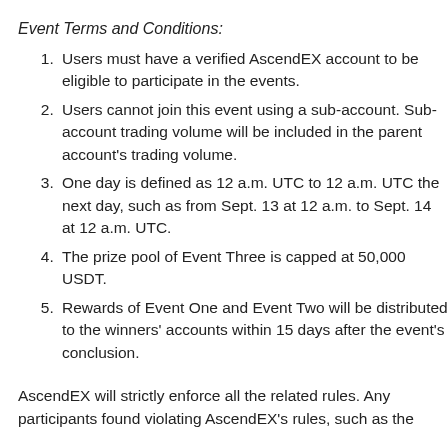Event Terms and Conditions:
Users must have a verified AscendEX account to be eligible to participate in the events.
Users cannot join this event using a sub-account. Sub-account trading volume will be included in the parent account's trading volume.
One day is defined as 12 a.m. UTC to 12 a.m. UTC the next day, such as from Sept. 13 at 12 a.m. to Sept. 14 at 12 a.m. UTC.
The prize pool of Event Three is capped at 50,000 USDT.
Rewards of Event One and Event Two will be distributed to the winners' accounts within 15 days after the event's conclusion.
AscendEX will strictly enforce all the related rules. Any participants found violating AscendEX's rules, such as the